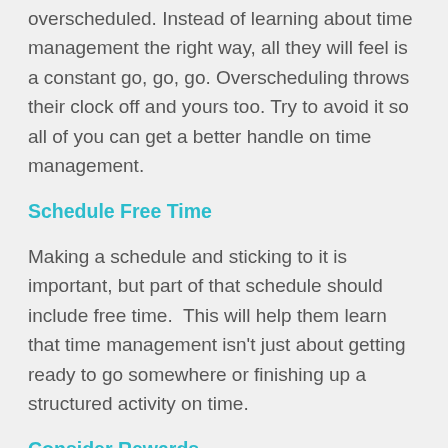overscheduled. Instead of learning about time management the right way, all they will feel is a constant go, go, go. Overscheduling throws their clock off and yours too. Try to avoid it so all of you can get a better handle on time management.
Schedule Free Time
Making a schedule and sticking to it is important, but part of that schedule should include free time.  This will help them learn that time management isn't just about getting ready to go somewhere or finishing up a structured activity on time.
Consider Rewards